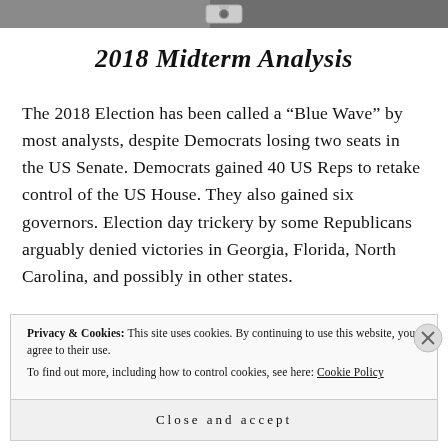[Figure (photo): Top image strip showing partial photographs with a camera icon placeholder in the center]
2018 Midterm Analysis
The 2018 Election has been called a “Blue Wave” by most analysts, despite Democrats losing two seats in the US Senate. Democrats gained 40 US Reps to retake control of the US House. They also gained six governors. Election day trickery by some Republicans arguably denied victories in Georgia, Florida, North Carolina, and possibly in other states.
Privacy & Cookies: This site uses cookies. By continuing to use this website, you agree to their use.
To find out more, including how to control cookies, see here: Cookie Policy
Close and accept